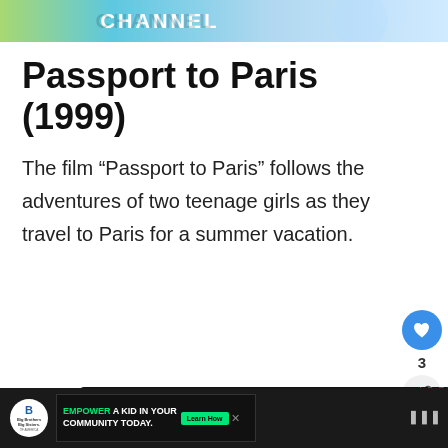[Figure (photo): Top banner with 'CHANNEL' text on a colorful gradient background with a decorative figure]
Passport to Paris (1999)
The film “Passport to Paris” follows the adventures of two teenage girls as they travel to Paris for a summer vacation.
[Figure (screenshot): Big Brothers Big Sisters advertisement: MENTOR A KID IN YOUR COMMUNITY. Learn How button.]
[Figure (screenshot): What's Next section showing The Maze Runner thumbnail with text: Movies Like "The Maze..."]
[Figure (screenshot): Bottom bar advertisement: Big Brothers Big Sisters - EMPOWER A KID IN YOUR COMMUNITY TODAY. Learn How button. Brand logo on right.]